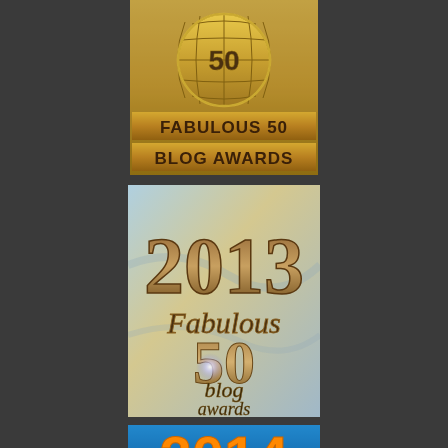[Figure (logo): Fabulous 50 Blog Awards badge with gold globe icon showing number 50, and text 'FABULOUS 50 BLOG AWARDS' on gold background with metallic lettering]
[Figure (logo): 2013 Fabulous 50 blog awards badge with large brown/bronze numerals '2013', italic text 'Fabulous', large '50' numeral with glowing center, 'blog' and 'awards' text on light blue textured background]
[Figure (logo): 2014 Fabulous 50 blog awards badge - partially visible at bottom, showing orange numerals on blue background]